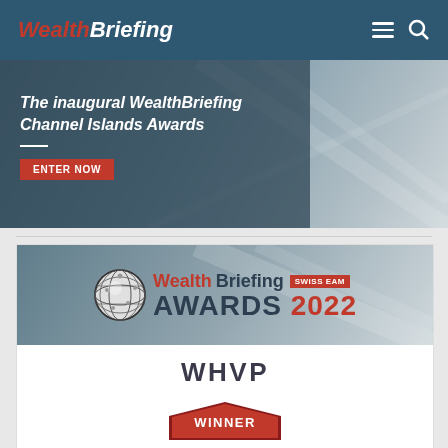WealthBriefing
[Figure (illustration): The inaugural WealthBriefing Channel Islands Awards banner with ENTER NOW button]
[Figure (logo): WealthBriefing Swiss EAM Awards 2022 logo with globe icon on diagonal striped banner background, showing WHVP as WINNER for Client Communications - In-House]